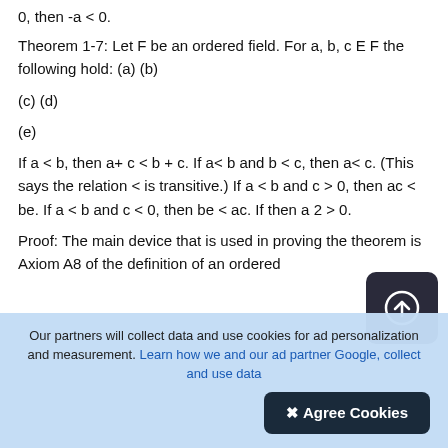0, then -a < 0.
Theorem 1-7: Let F be an ordered field. For a, b, c E F the following hold: (a) (b)
(c) (d)
(e)
If a < b, then a+ c < b + c. If a< b and b < c, then a< c. (This says the relation < is transitive.) If a < b and c > 0, then ac < be. If a < b and c < 0, then be < ac. If then a 2 > 0.
Proof: The main device that is used in proving the theorem is Axiom A8 of the definition of an ordered